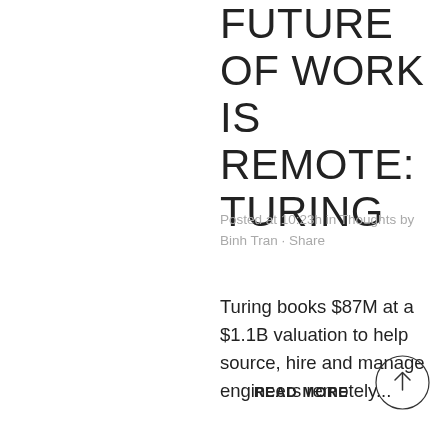FUTURE OF WORK IS REMOTE: TURING
Posted at 10:23h in Thoughts by Binh Tran · Share
Turing books $87M at a $1.1B valuation to help source, hire and manage engineers remotely...
READ MORE